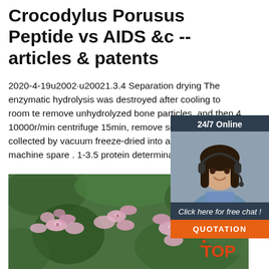Crocodylus Porusus Peptide vs AIDS &c -- articles & patents
2020-4-19u2002·u20021.3.4 Separation drying The enzymatic hydrolysis was destroyed after cooling to room te remove unhydrolyzed bone particles, and then 4 10000r/min centrifuge 15min, remove solids, the was collected by vacuum freeze-dried into a pow drying machine spare . 1-3.5 protein determinatio
[Figure (other): Get Price green button]
[Figure (other): 24/7 Online chat widget with customer service agent photo, Click here for free chat, QUOTATION button]
[Figure (photo): Blurred close-up photo of pink flowers with green leaves, with TOP badge overlay in bottom right]